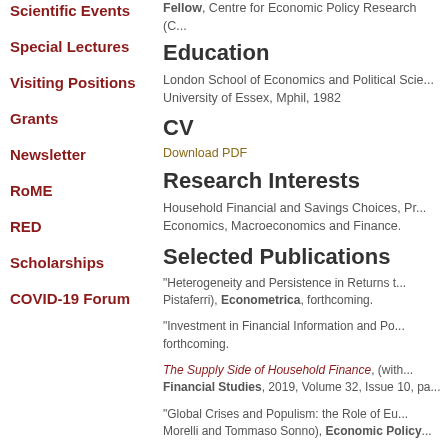Scientific Events
Special Lectures
Visiting Positions
Grants
Newsletter
RoME
RED
Scholarships
COVID-19 Forum
Fellow, Centre for Economic Policy Research (C...
Education
London School of Economics and Political Scie... University of Essex, Mphil, 1982
CV
Download PDF
Research Interests
Household Financial and Savings Choices, Pr... Economics, Macroeconomics and Finance.
Selected Publications
"Heterogeneity and Persistence in Returns t... Pistaferri), Econometrica, forthcoming.
"Investment in Financial Information and Po... forthcoming.
The Supply Side of Household Finance, (with... Financial Studies, 2019, Volume 32, Issue 10, pa...
"Global Crises and Populism: the Role of Eu... Morelli and Tommaso Sonno), Economic Policy...
"What drives women out of management? T... Rustichini), European Economic Review, 2018...